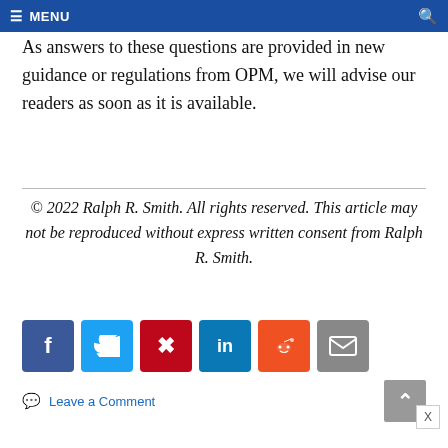≡ MENU
As answers to these questions are provided in new guidance or regulations from OPM, we will advise our readers as soon as it is available.
© 2022 Ralph R. Smith. All rights reserved. This article may not be reproduced without express written consent from Ralph R. Smith.
[Figure (infographic): Social sharing buttons: Facebook (blue), Twitter (light blue), Pinterest (dark red), LinkedIn (dark blue), Reddit (orange), Email (gray)]
💬 Leave a Comment